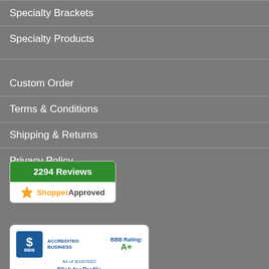Specialty Brackets
Specialty Products
Custom Order
Terms & Conditions
Shipping & Returns
Privacy Policy
[Figure (logo): Shopper Approved badge showing 2294 Reviews with green header and star logo]
[Figure (logo): BBB Accredited Business badge with A+ rating as of 8/18/2022 and Click for Profile link]